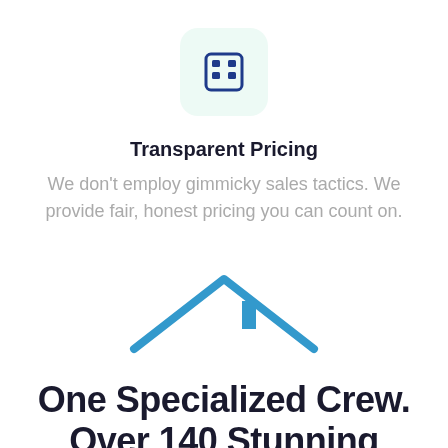[Figure (illustration): Calculator icon inside a rounded light green/mint square background]
Transparent Pricing
We don't employ gimmicky sales tactics. We provide fair, honest pricing you can count on.
[Figure (illustration): Blue outline rooftop/house gable icon]
One Specialized Crew. Over 140 Stunning Metal